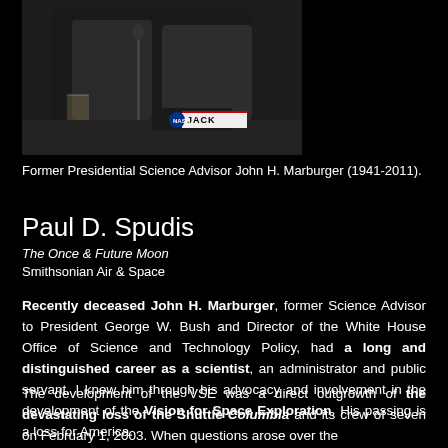[Figure (photo): Photo of former Presidential Science Advisor John H. Marburger seated at a table with a nameplate reading JACK]
Former Presidential Science Advisor John H. Marburger (1941-2011).
Paul D. Spudis
The Once & Future Moon
Smithsonian Air & Space
Recently deceased John H. Marburger, former Science Advisor to President George W. Bush and Director of the White House Office of Science and Technology Policy, had a long and distinguished career as a scientist, an administrator and public servant. I knew him through his advocacy and involvement in the development of the Vision for Space Exploration. His passing is a loss for America.
The development of the VSE was a direct outgrowth of the devastating loss of the Shuttle Columbia and its crew of seven on February 1, 2003. When questions arose over the